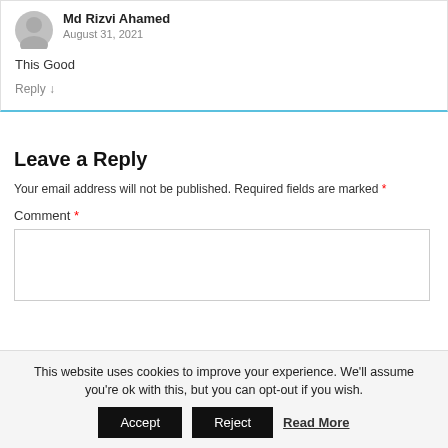Md Rizvi Ahamed
August 31, 2021
This Good
Reply ↓
Leave a Reply
Your email address will not be published. Required fields are marked *
Comment *
This website uses cookies to improve your experience. We'll assume you're ok with this, but you can opt-out if you wish.
Accept  Reject  Read More